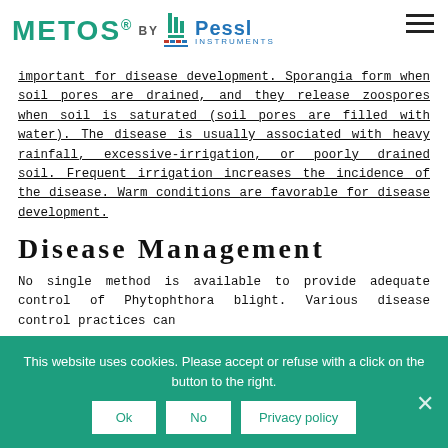METOS® BY Pessl INSTRUMENTS
important for disease development. Sporangia form when soil pores are drained, and they release zoospores when soil is saturated (soil pores are filled with water). The disease is usually associated with heavy rainfall, excessive-irrigation, or poorly drained soil. Frequent irrigation increases the incidence of the disease. Warm conditions are favorable for disease development.
Disease Management
No single method is available to provide adequate control of Phytophthora blight. Various disease control practices can
This website uses cookies. Please accept or refuse with a click on the button to the right.